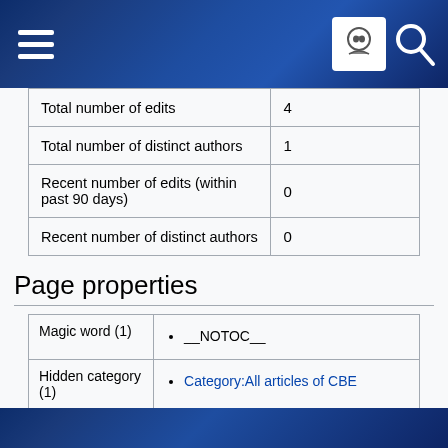Wikipedia page header with navigation icons
| Total number of edits | 4 |
| Total number of distinct authors | 1 |
| Recent number of edits (within past 90 days) | 0 |
| Recent number of distinct authors | 0 |
Page properties
| Magic word (1) | __NOTOC__ |
| Hidden category (1) | Category:All articles of CBE |
| Transcluded templates (2) | Template:E (view source) (protected)
Template:TibetanTerminology (view source) (protected) |